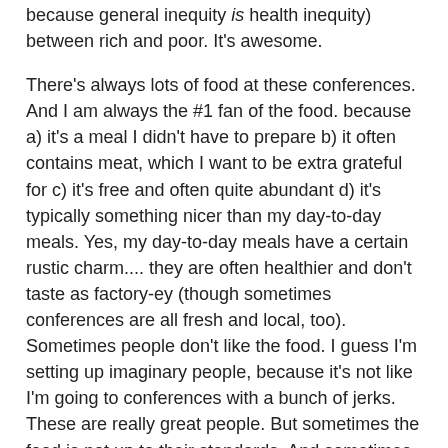because general inequity is health inequity) between rich and poor. It's awesome.
There's always lots of food at these conferences. And I am always the #1 fan of the food. because a) it's a meal I didn't have to prepare b) it often contains meat, which I want to be extra grateful for c) it's free and often quite abundant d) it's typically something nicer than my day-to-day meals. Yes, my day-to-day meals have a certain rustic charm.... they are often healthier and don't taste as factory-ey (though sometimes conferences are all fresh and local, too). Sometimes people don't like the food. I guess I'm setting up imaginary people, because it's not like I'm going to conferences with a bunch of jerks. These are really great people. But sometimes the food is not up to their standards. And sometimes it's totally up to their standards and (particularly with women) there comes this whole discussion of how much weight they're going to have to lose after the conference is finished.
And I guess I want to say: even the crappiest food, far removed from anything, mainly made in a factory, involved